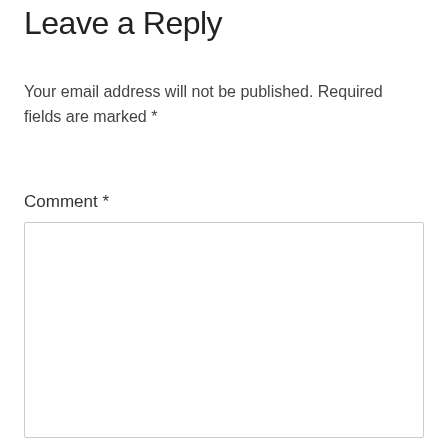Leave a Reply
Your email address will not be published. Required fields are marked *
Comment *
[Figure (other): Empty comment text area input box with a light gray border]